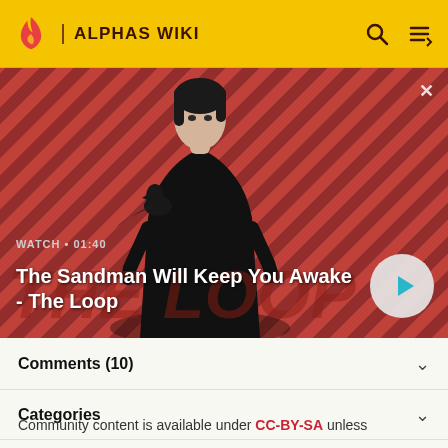ALPHAS WIKI
[Figure (screenshot): Video thumbnail showing a dark-cloaked figure with a raven on shoulder against a red diagonal striped background. Watch time 01:40. Title: The Sandman Will Keep You Awake - The Loop. Play button visible.]
Comments (10)
Categories
Community content is available under CC-BY-SA unless otherwise noted.